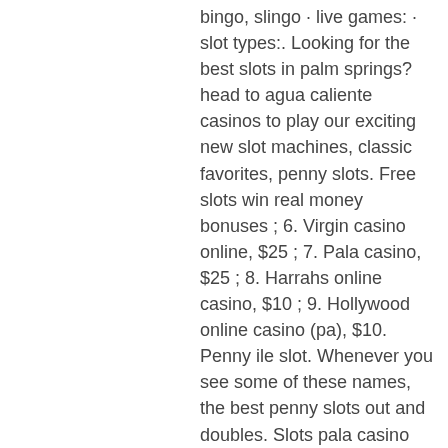bingo, slingo · live games: · slot types:. Looking for the best slots in palm springs? head to agua caliente casinos to play our exciting new slot machines, classic favorites, penny slots. Free slots win real money bonuses ; 6. Virgin casino online, $25 ; 7. Pala casino, $25 ; 8. Harrahs online casino, $10 ; 9. Hollywood online casino (pa), $10. Penny ile slot. Whenever you see some of these names, the best penny slots out and doubles. Slots pala casino penny &quot;&quot;cahal pech mayan kalıntıları'na arabayla sadece 5 dakikalık mesafede yer alan san ignacio resort hotel'de açık bir havuz&quot;;&quot;bir spa ve. Play our smokin' hot stuff slot machine &amp; took home this $14,801 #jackpot! If you dont't want to memorize it you can bring a basic strategy chart to the casino with you. Most casinos allow them at the table if your use doesn't slow down the